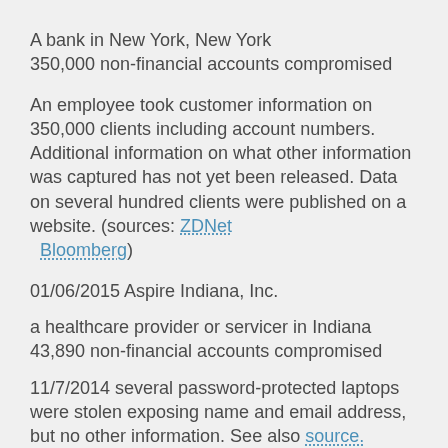A bank in New York, New York
350,000 non-financial accounts compromised
An employee took customer information on 350,000 clients including account numbers. Additional information on what other information was captured has not yet been released. Data on several hundred clients were published on a website. (sources: ZDNet Bloomberg)
01/06/2015 Aspire Indiana, Inc.
a healthcare provider or servicer in Indiana
43,890 non-financial accounts compromised
11/7/2014 several password-protected laptops were stolen exposing name and email address, but no other information. See also source.